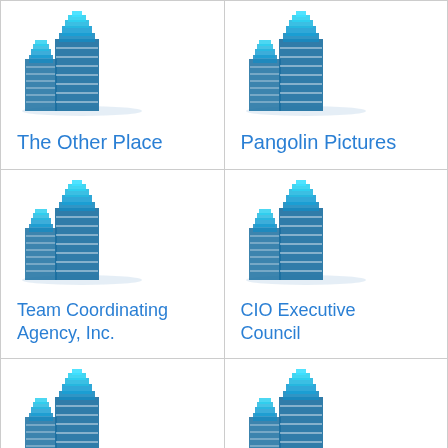[Figure (logo): Building/office icon for The Other Place]
The Other Place
[Figure (logo): Building/office icon for Pangolin Pictures]
Pangolin Pictures
[Figure (logo): Building/office icon for Team Coordinating Agency, Inc.]
Team Coordinating Agency, Inc.
[Figure (logo): Building/office icon for CIO Executive Council]
CIO Executive Council
[Figure (logo): Building/office icon for Millburn High School]
Millburn High School
[Figure (logo): Building/office icon for unnamed organization]